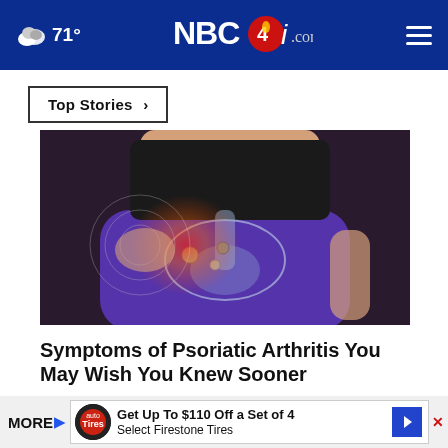71° NBC4i.com
Top Stories >
[Figure (photo): Medical illustration of psoriatic arthritis pain in hip/pelvis area, person wearing purple pants with x-ray overlay showing joint inflammation highlighted in red]
Symptoms of Psoriatic Arthritis You May Wish You Knew Sooner
Ad by Psoriatic Arthritis | Sponsore
Get Up To $110 Off a Set of 4 Select Firestone Tires
MORE